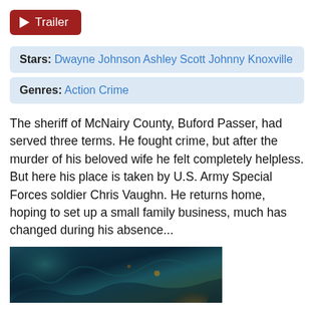[Figure (other): Red play button labeled Trailer]
Stars: Dwayne Johnson Ashley Scott Johnny Knoxville
Genres: Action Crime
The sheriff of McNairy County, Buford Passer, had served three terms. He fought crime, but after the murder of his beloved wife he felt completely helpless. But here his place is taken by U.S. Army Special Forces soldier Chris Vaughn. He returns home, hoping to set up a small family business, much has changed during his absence...
[Figure (illustration): Fantasy/sci-fi artwork with dark teal and green hues, showing a creature or scene]